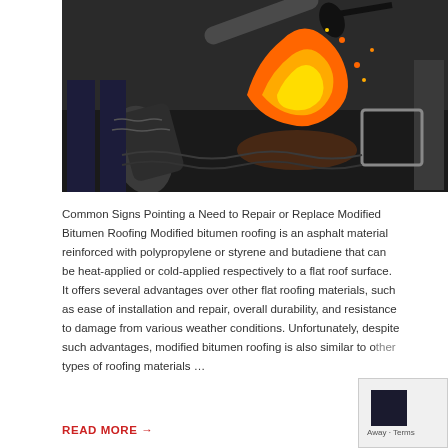[Figure (photo): A worker applying torch-down modified bitumen roofing material. A large flame from a propane torch is heating and melting a roll of bitumen membrane being laid down on a flat roof surface.]
Common Signs Pointing a Need to Repair or Replace Modified Bitumen Roofing Modified bitumen roofing is an asphalt material reinforced with polypropylene or styrene and butadiene that can be heat-applied or cold-applied respectively to a flat roof surface.  It offers several advantages over other flat roofing materials, such as ease of installation and repair, overall durability, and resistance to damage from various weather conditions. Unfortunately, despite such advantages, modified bitumen roofing is also similar to other types of roofing materials …
READ MORE →